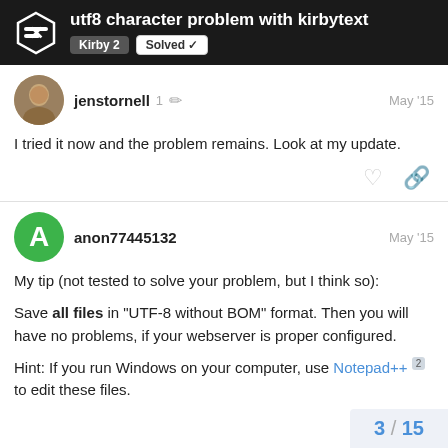utf8 character problem with kirbytext — Kirby 2 | Solved
jenstornell  1  May '15
I tried it now and the problem remains. Look at my update.
anon77445132  May '15
My tip (not tested to solve your problem, but I think so):
Save all files in "UTF-8 without BOM" format. Then you will have no problems, if your webserver is proper configured.
Hint: If you run Windows on your computer, use Notepad++ to edit these files.
3 / 15